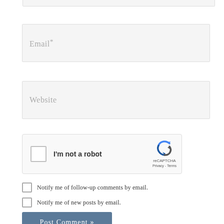[Figure (screenshot): Top partial input field border visible at top of page]
Email*
Website
[Figure (screenshot): reCAPTCHA widget with checkbox labeled 'I'm not a robot' and reCAPTCHA logo with Privacy and Terms links]
Notify me of follow-up comments by email.
Notify me of new posts by email.
Post Comment »